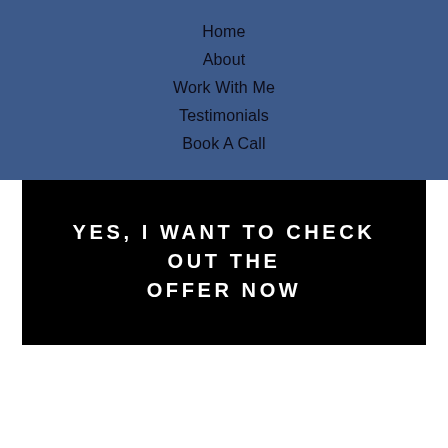Home
About
Work With Me
Testimonials
Book A Call
YES, I WANT TO CHECK OUT THE OFFER NOW
[Figure (illustration): White wavy decorative divider between white and light grey sections]